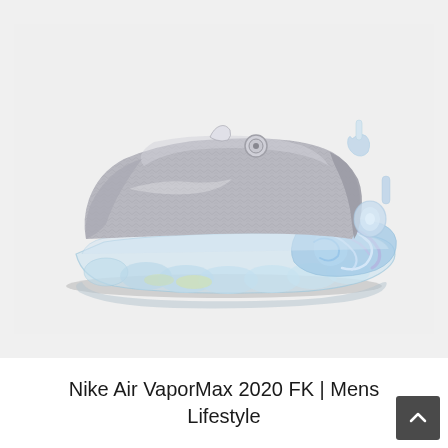[Figure (photo): Nike Air VaporMax 2020 FK sneaker shown in side profile view. The shoe has a grey knit Flyknit upper with a transparent/icy blue Air VaporMax sole unit featuring marble-like swirls of blue and purple. The heel area has blue marbled detailing and a light blue tab at the top. Background is light grey/white.]
Nike Air VaporMax 2020 FK | Mens Lifestyle